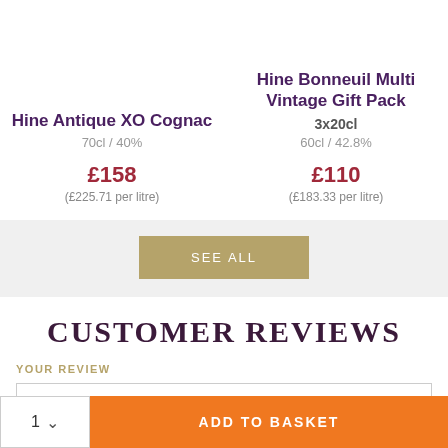Hine Antique XO Cognac
70cl / 40%
£158
(£225.71 per litre)
Hine Bonneuil Multi Vintage Gift Pack
3x20cl
60cl / 42.8%
£110
(£183.33 per litre)
SEE ALL
CUSTOMER REVIEWS
YOUR REVIEW
Have you tried this product? Let us know what you thought.
1 ∨  ADD TO BASKET